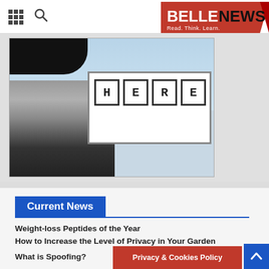[Figure (screenshot): Website navigation bar with grid icon, search icon, and BELLENEWS logo in red and white on the right]
[Figure (photo): Hero image showing a person holding a sign that says HERE, partially cropped at the top]
Current News
Weight-loss Peptides of the Year
How to Increase the Level of Privacy in Your Garden
What Does a Business Analyst Do?
What is Spoofing?
Why You Should Pursue An Online Degree